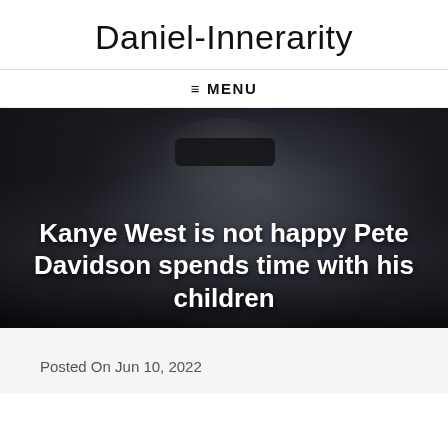Daniel-Innerarity
☰ MENU
[Figure (photo): Dark photo of Kanye West wearing sunglasses and a denim jacket, surrounded by people, with bold white headline text overlay]
Kanye West is not happy Pete Davidson spends time with his children
Posted On Jun 10, 2022